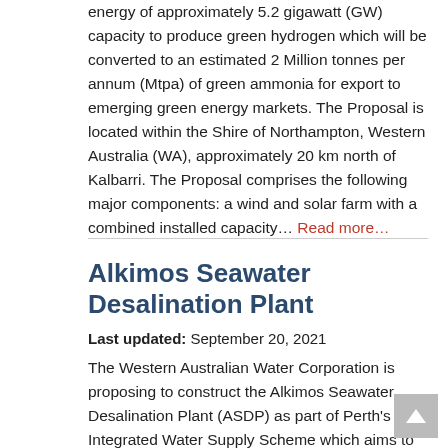energy of approximately 5.2 gigawatt (GW) capacity to produce green hydrogen which will be converted to an estimated 2 Million tonnes per annum (Mtpa) of green ammonia for export to emerging green energy markets. The Proposal is located within the Shire of Northampton, Western Australia (WA), approximately 20 km north of Kalbarri. The Proposal comprises the following major components: a wind and solar farm with a combined installed capacity… Read more…
Alkimos Seawater Desalination Plant
Last updated: September 20, 2021
The Western Australian Water Corporation is proposing to construct the Alkimos Seawater Desalination Plant (ASDP) as part of Perth's Integrated Water Supply Scheme which aims to provide additional sources of drinking water to supplement the existing metropolitan water supply. The ASDP Proposal will be located within